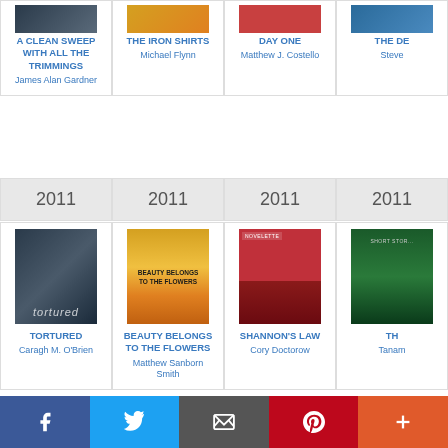[Figure (other): Grid of book covers and titles - top partial row showing cropped book covers with titles and authors below]
A CLEAN SWEEP WITH ALL THE TRIMMINGS
James Alan Gardner
THE IRON SHIRTS
Michael Flynn
DAY ONE
Matthew J. Costello
THE DE...
Steve...
2011
2011
2011
2011
[Figure (photo): Book cover: TORTURED by Caragh M. O'Brien - dark steampunk cover]
TORTURED
Caragh M. O'Brien
[Figure (photo): Book cover: BEAUTY BELONGS TO THE FLOWERS by Matthew Sanborn Smith - golden swirling cover]
BEAUTY BELONGS TO THE FLOWERS
Matthew Sanborn Smith
[Figure (photo): Book cover: SHANNON'S LAW by Cory Doctorow - red cover]
SHANNON'S LAW
Cory Doctorow
[Figure (photo): Book cover: TH... by Tanan... - dark green cover]
TH...
Tanam...
2011
2011
2011
2011